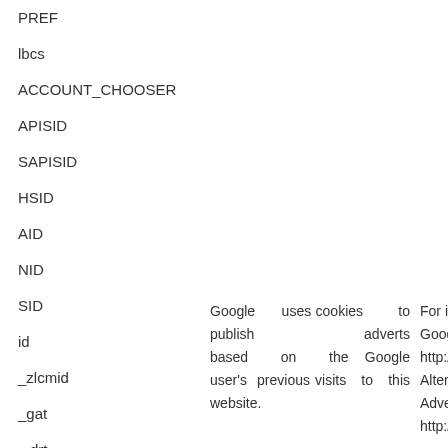PREF
lbcs
ACCOUNT_CHOOSER
APISID
SAPISID
HSID
AID
NID
SID
id
_zlcmid
_gat
drt
Google uses cookies to publish adverts based on the Google user's previous visits to this website.
For in Google http:// Altern Advert http://